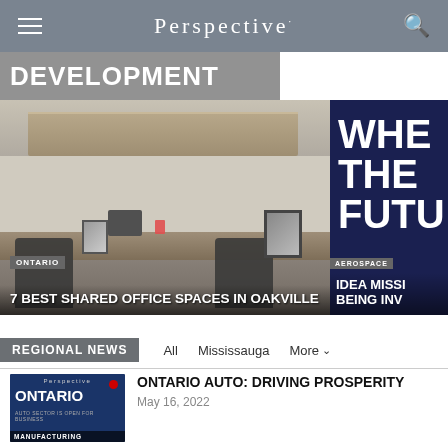Perspective
DEVELOPMENT
[Figure (photo): Office interior showing shared workspace with desks, chairs, cabinets, monitors. Overlay text: ONTARIO / 7 BEST SHARED OFFICE SPACES IN OAKVILLE]
[Figure (photo): Dark blue background with large white text partially visible: WHE THE FUTU. Overlay text: AEROSPACE / IDEA MISSI BEING INV]
REGIONAL NEWS
All  Mississauga  More
[Figure (photo): Thumbnail image with dark blue background showing ONTARIO AUTO SECTOR IS OPEN FOR BUSINESS with Perspective logo and MANUFACTURING tag]
ONTARIO AUTO: DRIVING PROSPERITY
May 16, 2022